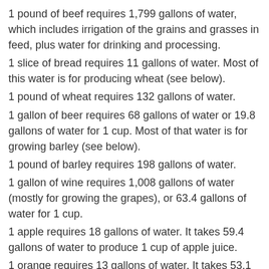1 pound of beef requires 1,799 gallons of water, which includes irrigation of the grains and grasses in feed, plus water for drinking and processing.
1 slice of bread requires 11 gallons of water. Most of this water is for producing wheat (see below).
1 pound of wheat requires 132 gallons of water.
1 gallon of beer requires 68 gallons of water or 19.8 gallons of water for 1 cup. Most of that water is for growing barley (see below).
1 pound of barley requires 198 gallons of water.
1 gallon of wine requires 1,008 gallons of water (mostly for growing the grapes), or 63.4 gallons of water for 1 cup.
1 apple requires 18 gallons of water. It takes 59.4 gallons of water to produce 1 cup of apple juice.
1 orange requires 13 gallons of water. It takes 53.1 gallons of water for 1 cup of orange juice.
1 pound of chicken requires 468 gallons of water.